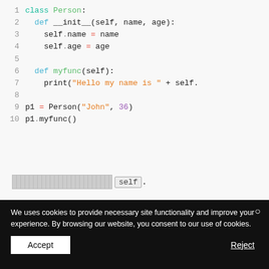[Figure (screenshot): Python syntax-highlighted code block showing a class definition with __init__ and myfunc methods, and usage of p1 = Person('John', 36) and p1.myfunc()]
[redacted] self.
We uses cookies to provide necessary site functionality and improve your experience. By browsing our website, you consent to our use of cookies.
Accept
Reject